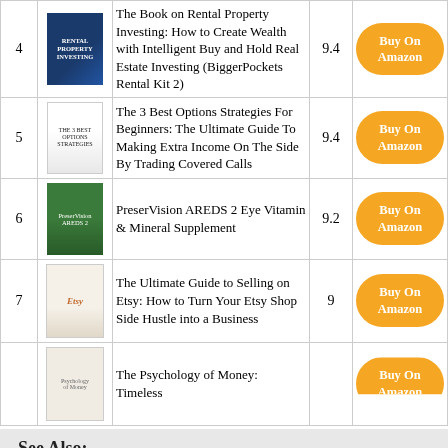| # | Image | Title | Score | Action |
| --- | --- | --- | --- | --- |
| 4 | [book image] | The Book on Rental Property Investing: How to Create Wealth with Intelligent Buy and Hold Real Estate Investing (BiggerPockets Rental Kit 2) | 9.4 | Buy On Amazon |
| 5 | [book image] | The 3 Best Options Strategies For Beginners: The Ultimate Guide To Making Extra Income On The Side By Trading Covered Calls | 9.4 | Buy On Amazon |
| 6 | [book image] | PreserVision AREDS 2 Eye Vitamin & Mineral Supplement | 9.2 | Buy On Amazon |
| 7 | [book image] | The Ultimate Guide to Selling on Etsy: How to Turn Your Etsy Shop Side Hustle into a Business | 9 | Buy On Amazon |
| 8 | [book image] | The Psychology of Money: Timeless |  | Buy On Amazon |
See Also:
Best Nail Buffing System
Best Scope For 243 Remington
Best Acrylic Glue On Nails